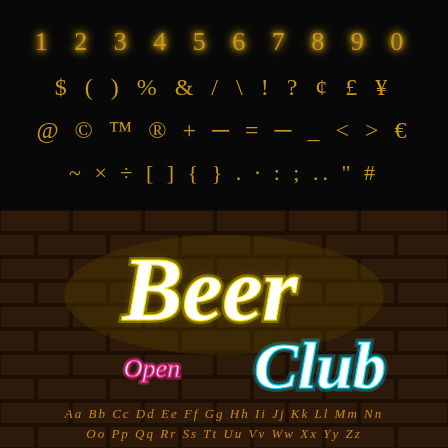[Figure (illustration): Golden/yellow neon-style decorative font characters on black background. Row 1: numerals 1 2 3 4 5 6 7 8 9 0. Row 2: $ ( ) % & / \ ! ? ¢ £ ¥. Row 3: @ © TM ® + - = — _ < > €. Row 4: ~ × ÷ [ ] { } . ˙ : ; .. " #]
[Figure (illustration): Neon sign on brick wall background. 'Beer' in large glowing yellow neon cursive script. Below left: 'Open' in glowing pink neon cursive. Right: 'Club' in large glowing cyan/blue neon cursive. Bottom: two rows of cursive golden alphabet pairs Aa Bb Cc Dd Ee Ff Gg Hh Ii Jj Kk Ll Mm Nn / Oo Pp Qq Rr Ss Tt Uu Vv Ww Xx Yy Zz]